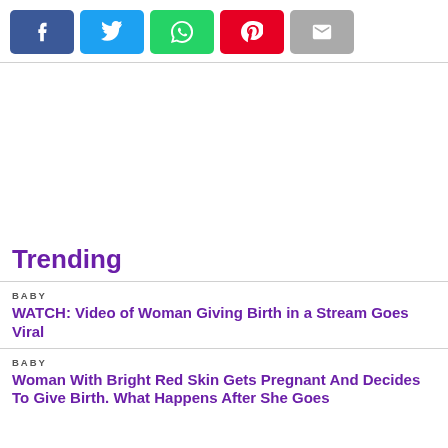[Figure (other): Social share buttons: Facebook (blue), Twitter (cyan), WhatsApp (green), Pinterest (red), Email (gray)]
Trending
BABY
WATCH: Video of Woman Giving Birth in a Stream Goes Viral
BABY
Woman With Bright Red Skin Gets Pregnant And Decides To Give Birth. What Happens After She Goes